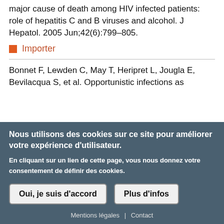major cause of death among HIV infected patients: role of hepatitis C and B viruses and alcohol. J Hepatol. 2005 Jun;42(6):799–805.
Importer
Bonnet F, Lewden C, May T, Heripret L, Jougla E, Bevilacqua S, et al. Opportunistic infections as
Nous utilisons des cookies sur ce site pour améliorer votre expérience d'utilisateur.
En cliquant sur un lien de cette page, vous nous donnez votre consentement de définir des cookies.
Oui, je suis d'accord
Plus d'infos
Mentions légales | Contact